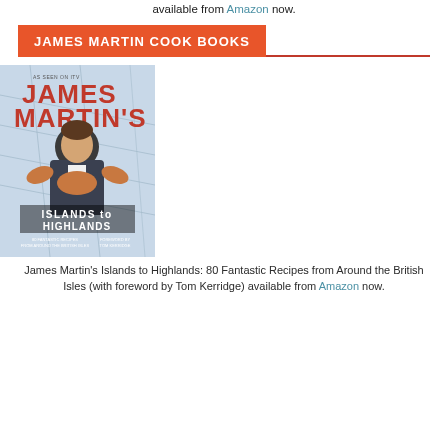available from Amazon now.
JAMES MARTIN COOK BOOKS
[Figure (photo): Book cover of James Martin's Islands to Highlands: 80 Fantastic Recipes from Around the British Isles, showing James Martin holding a large crab, with a map background. Text on cover includes 'AS SEEN ON ITV', 'JAMES MARTIN'S', 'ISLANDS to HIGHLANDS', '80 FANTASTIC RECIPES FROM AROUND THE BRITISH ISLES', 'FOREWORD BY TOM KERRIDGE'.]
James Martin's Islands to Highlands: 80 Fantastic Recipes from Around the British Isles (with foreword by Tom Kerridge) available from Amazon now.